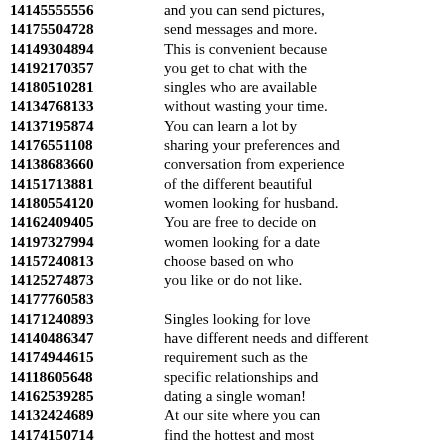14145555556 and you can send pictures, 14175504728 send messages and more. 14149304894 This is convenient because 14192170357 you get to chat with the 14180510281 singles who are available 14134768133 without wasting your time. 14137195874 You can learn a lot by 14176551108 sharing your preferences and 14138683660 conversation from experience 14151713881 of the different beautiful 14180554120 women looking for husband. 14162409405 You are free to decide on 14197327994 women looking for a date 14157240813 choose based on who 14125274873 you like or do not like. 14177760583 14171240893 Singles looking for love 14140486347 have different needs and different 14174944615 requirement such as the 14118605648 specific relationships and 14162539285 dating a single woman! 14132424689 At our site where you can 14174150714 find the hottest and most 14140252715 beautiful women in all 14186735440 classifieds in your local area. 14146613682 Women seeking younger men